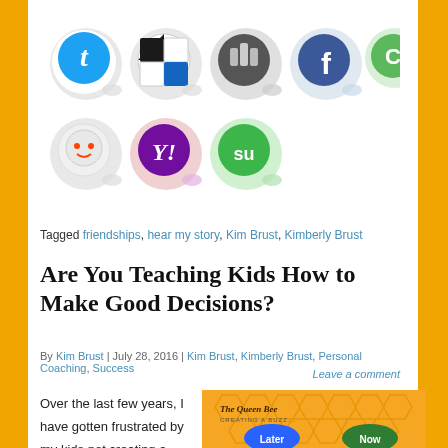[Figure (illustration): Row of social media icon stickers: Twitter, Chess.com(?), Stumbleupon(dark), Facebook, Green chat icon, Reddit, Yahoo, StumbleUpon]
Tagged friendships, hear my story, Kim Brust, Kimberly Brust
Are You Teaching Kids How to Make Good Decisions?
By Kim Brust | July 28, 2016 | Kim Brust, Kimberly Brust, Personal Coaching, Success
Leave a comment
Over the last few years, I have gotten frustrated by my kids not creating a sense
[Figure (illustration): The Queen Bee Creating a Buzz blog image with honeycomb background, cartoon bees, and Now/Later decision buttons]